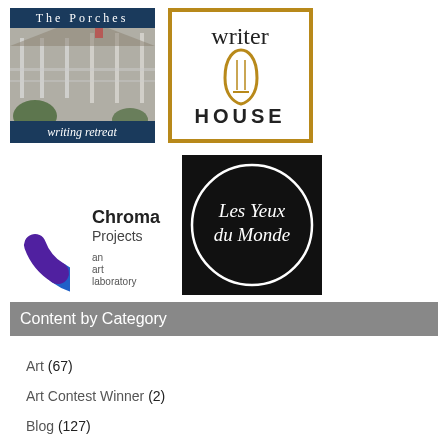[Figure (logo): The Porches writing retreat logo — blue banner with white serif text 'The Porches' and house photo, dark blue bar at bottom with italic white text 'writing retreat']
[Figure (logo): Writer House logo — gold border rectangle with serif 'writer' text, pencil icon in gold, bold sans-serif 'HOUSE' text]
[Figure (logo): Chroma Projects an art laboratory logo — colorful C arc in rainbow colors beside bold text 'Chroma Projects an art laboratory']
[Figure (logo): Les Yeux du Monde logo — black square with white circle outline and white serif italic text 'Les Yeux du Monde']
Content by Category
Art (67)
Art Contest Winner (2)
Blog (127)